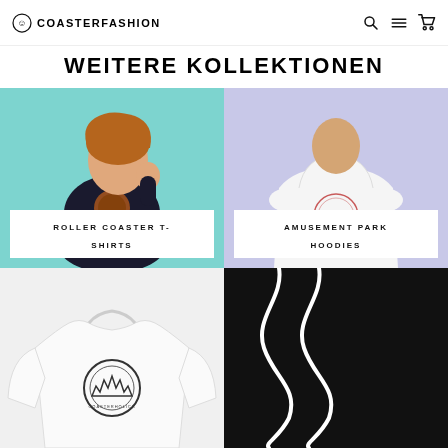COASTERFASHION
WEITERE KOLLEKTIONEN
[Figure (photo): Woman laughing wearing a dark roller coaster graphic t-shirt, teal background, with white label overlay reading ROLLER COASTER T-SHIRTS]
[Figure (photo): Man wearing a white hoodie with Amusement Park graphic print, lavender background, with white label overlay reading AMUSEMENT PARK HOODIES]
[Figure (photo): White sweatshirt with circular coaster logo graphic on light grey background]
[Figure (photo): Black background with white roller coaster track outline forming wavy S-curves]